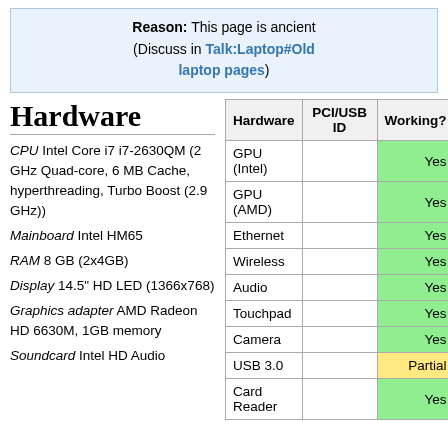Reason: This page is ancient (Discuss in Talk:Laptop#Old laptop pages)
Hardware
CPU Intel Core i7 i7-2630QM (2 GHz Quad-core, 6 MB Cache, hyperthreading, Turbo Boost (2.9 GHz))
Mainboard Intel HM65
RAM 8 GB (2x4GB)
Display 14.5" HD LED (1366x768)
Graphics adapter AMD Radeon HD 6630M, 1GB memory
Soundcard Intel HD Audio
| Hardware | PCI/USB ID | Working? |
| --- | --- | --- |
| GPU (Intel) |  | Yes |
| GPU (AMD) |  | Yes |
| Ethernet |  | Yes |
| Wireless |  | Yes |
| Audio |  | Yes |
| Touchpad |  | Yes |
| Camera |  | Yes |
| USB 3.0 |  | Partial |
| Card Reader |  | Yes |